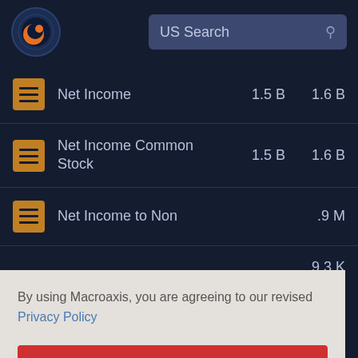[Figure (screenshot): Macroaxis app header with logo globe icon on left and US Search bar on right with dark navy background]
|  | Metric | Value 1 | Value 2 |
| --- | --- | --- | --- |
| [icon] | Net Income | 1.5 B | 1.6 B |
| [icon] | Net Income Common Stock | 1.5 B | 1.6 B |
| [icon] | Net Income to Non | 1.9 M |  |
| [icon] |  | 9.3 K |  |
By using Macroaxis, you are agreeing to our revised Privacy Policy
OK